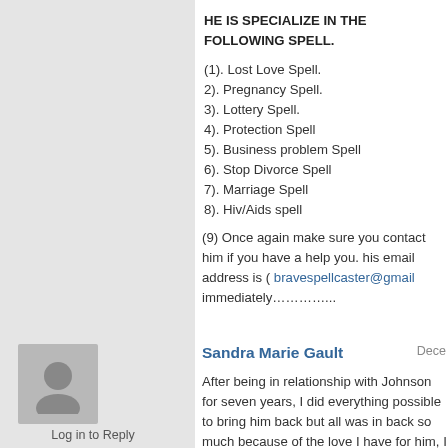HE IS SPECIALIZE IN THE FOLLOWING SPELL.
(1). Lost Love Spell.
2). Pregnancy Spell.
3). Lottery Spell.
4). Protection Spell
5). Business problem Spell
6). Stop Divorce Spell
7). Marriage Spell
8). Hiv/Aids spell
(9) Once again make sure you contact him if you have a help you. his email address is ( bravespellcaster@gmail immediately…………...
Sandra Marie Gault
Dece
After being in relationship with Johnson for seven years, I did everything possible to bring him back but all was in back so much because of the love I have for him, I begg everything, I made promises but he refused. I explained someone online and she suggested that I should contac